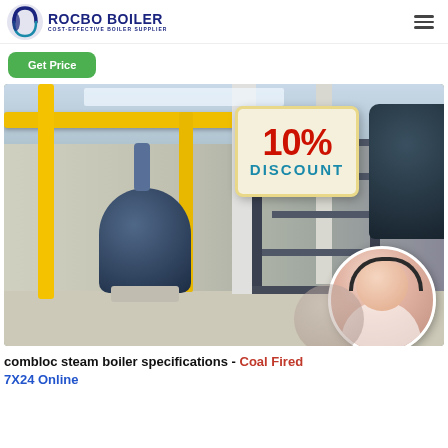[Figure (logo): Rocbo Boiler logo with circular 'C' icon and text 'ROCBO BOILER / COST-EFFECTIVE BOILER SUPPLIER']
Get Price
[Figure (photo): Industrial boiler facility interior with yellow pipes, blue boiler machine, staircase, and a 10% DISCOUNT badge overlay with a customer service representative photo]
combloc steam boiler specifications - Coal Fired 7X24 Online